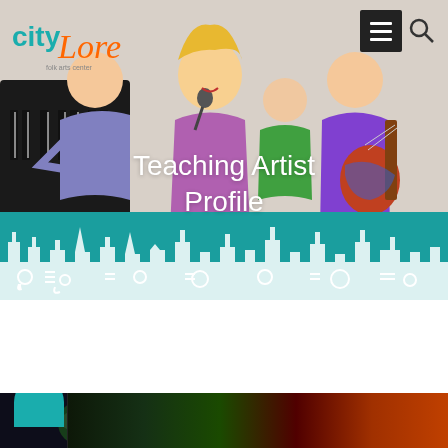[Figure (illustration): City Lore website header with logo top-left, hamburger menu and search icon top-right, crayon-drawn illustration of musicians (keyboard player, singer, guitarist) in background, teal decorative city skyline band at bottom of hero image]
Teaching Artist Profile
[Figure (photo): Partial bottom strip showing a colorful photo with a teal circular element on the left side, dark and colorful bokeh background]